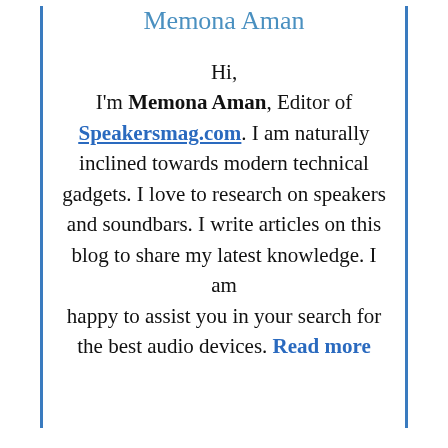Memona Aman
Hi,
I'm Memona Aman, Editor of Speakersmag.com. I am naturally inclined towards modern technical gadgets. I love to research on speakers and soundbars. I write articles on this blog to share my latest knowledge. I am happy to assist you in your search for the best audio devices. Read more